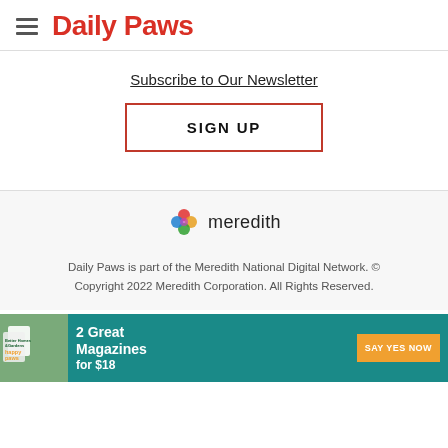Daily Paws
Subscribe to Our Newsletter
[Figure (other): SIGN UP button with red border]
[Figure (logo): Meredith logo with colorful knot icon and 'meredith' wordmark]
Daily Paws is part of the Meredith National Digital Network. © Copyright 2022 Meredith Corporation. All Rights Reserved.
[Figure (infographic): Advertisement banner: '2 Great Magazines for $18 - SAY YES NOW' with Better Homes & Gardens and Happy Paws magazines shown, teal background]